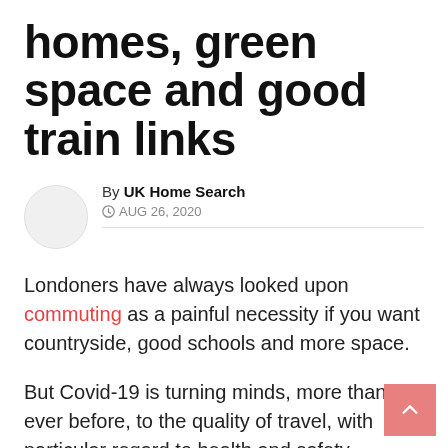homes, green space and good train links
By UK Home Search
AUG 26, 2020
Londoners have always looked upon commuting as a painful necessity if you want countryside, good schools and more space.
But Covid-19 is turning minds, more than ever before, to the quality of travel, with particular regard to health and safety.